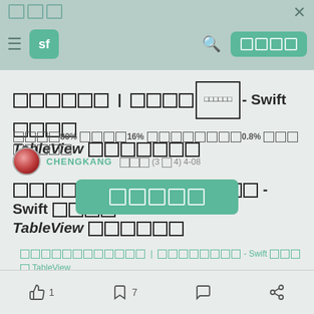sf  [nav bar with logo and search]
□□□□□□ | □□□□□□□□ - Swift □□□□ TableView □□□□□□□
□□□□80% □□□□16% □□□□□□□□0.8% □□□□□□□□
CHENGKANG  □□□ (3□4) 4-08
[Figure (other): Green popup button with 5 squares icon]
□□□□□□ | □□□□□□□□□ - Swift □□□□ TableView □□□□□□
□□□□□□□□□□□□ | □□□□□□□□ - Swift □□□□ TableView □□□□□□
□□□□□github □□□□□□□□□□□□
👍 1    🔖 7    💬